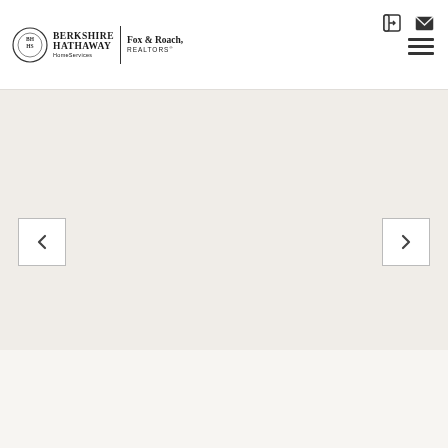[Figure (logo): Berkshire Hathaway HomeServices Fox & Roach, REALTORS logo with circular emblem on the left, vertical divider, and company name text]
[Figure (infographic): Navigation header icons: login icon and envelope/mail icon in top right corner, and hamburger menu icon]
[Figure (photo): Large empty slideshow/carousel area with light beige background]
[Figure (infographic): Left navigation arrow button (chevron left) for slideshow]
[Figure (infographic): Right navigation arrow button (chevron right) for slideshow]